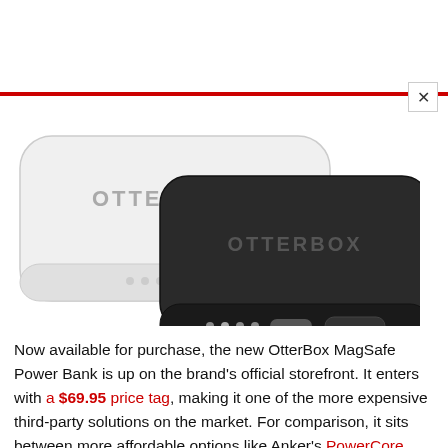[Figure (photo): Two OtterBox MagSafe Power Banks side by side — one white (top-left, showing USB-C port, LED indicators, and power button on the bottom edge) and one black (bottom-right, showing the same features). Both have the OtterBox logo embossed on the rear.]
Now available for purchase, the new OtterBox MagSafe Power Bank is up on the brand's official storefront. It enters with a $69.95 price tag, making it one of the more expensive third-party solutions on the market. For comparison, it sits between more affordable options like Anker's PowerCore Magnetic 5K at $55 and the official Apple version at $99.